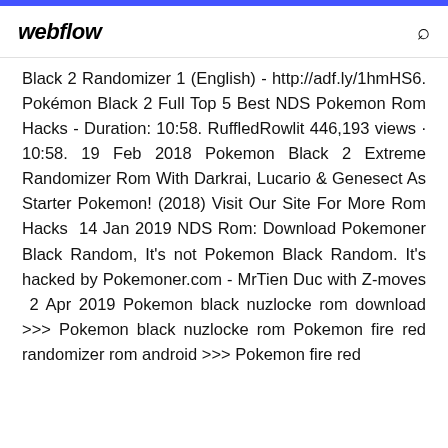webflow
Black 2 Randomizer 1 (English) - http://adf.ly/1hmHS6. Pokémon Black 2 Full Top 5 Best NDS Pokemon Rom Hacks - Duration: 10:58. RuffledRowlit 446,193 views · 10:58. 19 Feb 2018 Pokemon Black 2 Extreme Randomizer Rom With Darkrai, Lucario & Genesect As Starter Pokemon! (2018) Visit Our Site For More Rom Hacks  14 Jan 2019 NDS Rom: Download Pokemoner Black Random, It's not Pokemon Black Random. It's hacked by Pokemoner.com - MrTien Duc with Z-moves  2 Apr 2019 Pokemon black nuzlocke rom download >>> Pokemon black nuzlocke rom Pokemon fire red randomizer rom android >>> Pokemon fire red